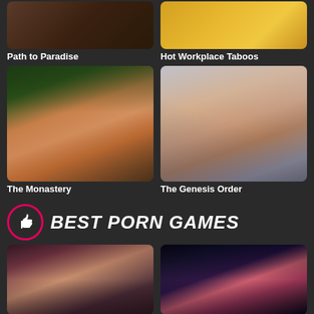[Figure (photo): Top two game thumbnails partially visible at top of page: left shows a photo-realistic scene, right shows an animated cartoon scene]
Path to Paradise
Hot Workplace Taboos
[Figure (photo): Game thumbnail for The Monastery showing a 3D rendered female figure outdoors]
[Figure (photo): Game thumbnail for The Genesis Order showing two 3D rendered figures]
The Monastery
The Genesis Order
BEST PORN GAMES
[Figure (photo): Bottom two game thumbnails: left shows a 3D rendered brunette female character, right shows a 3D rendered red-haired female character in space setting]